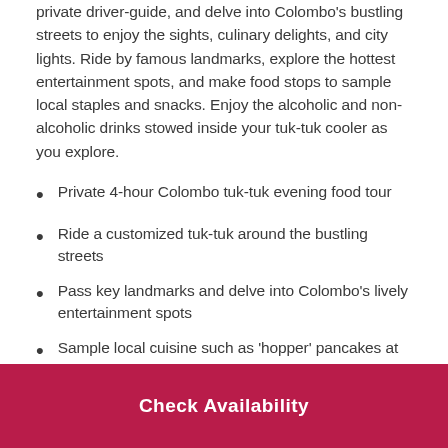private driver-guide, and delve into Colombo's bustling streets to enjoy the sights, culinary delights, and city lights. Ride by famous landmarks, explore the hottest entertainment spots, and make food stops to sample local staples and snacks. Enjoy the alcoholic and non-alcoholic drinks stowed inside your tuk-tuk cooler as you explore.
Private 4-hour Colombo tuk-tuk evening food tour
Ride a customized tuk-tuk around the bustling streets
Pass key landmarks and delve into Colombo's lively entertainment spots
Sample local cuisine such as 'hopper' pancakes at
Check Availability